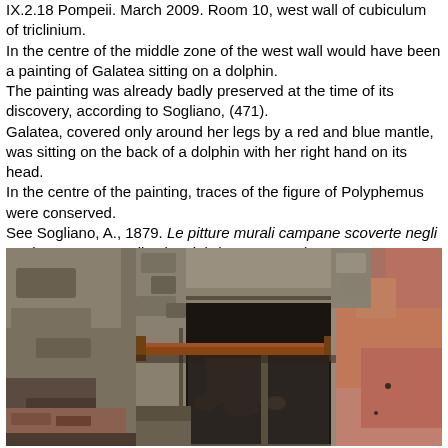IX.2.18 Pompeii. March 2009. Room 10, west wall of cubiculum of triclinium.
In the centre of the middle zone of the west wall would have been a painting of Galatea sitting on a dolphin.
The painting was already badly preserved at the time of its discovery, according to Sogliano, (471).
Galatea, covered only around her legs by a red and blue mantle, was sitting on the back of a dolphin with her right hand on its head.
In the centre of the painting, traces of the figure of Polyphemus were conserved.
See Sogliano, A., 1879. Le pitture murali campane scoverte negli anni 1867-79. Napoli: Giannini. (p.78, no.471).
[Figure (photo): Photograph of an ancient ruined room interior at Pompeii, showing stone walls, rubble, a doorway with a metal support beam, and remnants of red painted wall plaster on the right side. March 2009, Room 10 west wall area.]